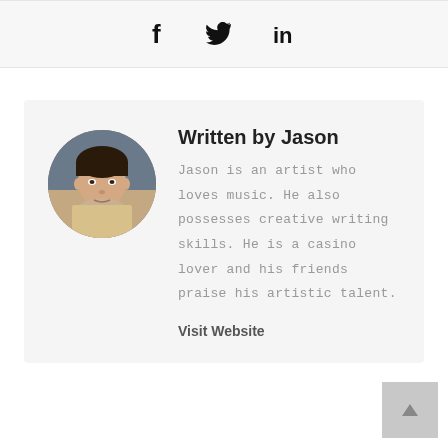[Figure (infographic): Social media share icons: Facebook (f), Twitter (bird), LinkedIn (in)]
[Figure (photo): Circular portrait photo of Jason, a young man]
Written by Jason
Jason is an artist who loves music. He also possesses creative writing skills. He is a casino lover and his friends praise his artistic talent.
Visit Website